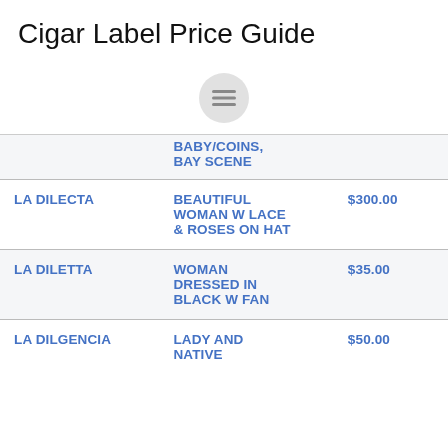Cigar Label Price Guide
[Figure (other): Hamburger menu icon (three horizontal lines inside a circle)]
| Brand | Description | Price |
| --- | --- | --- |
|  | BABY COINS, BAY SCENE |  |
| LA DILECTA | BEAUTIFUL WOMAN W LACE & ROSES ON HAT | $300.00 |
| LA DILETTA | WOMAN DRESSED IN BLACK W FAN | $35.00 |
| LA DILGENCIA | LADY AND NATIVE | $50.00 |